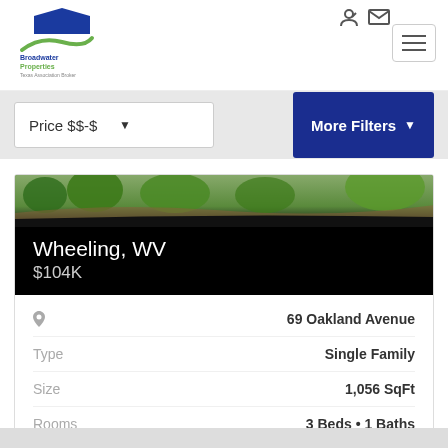[Figure (logo): Broadwater Properties logo with blue house icon and green swoosh]
Price $$-$
More Filters
[Figure (photo): Outdoor greenery/landscape photo strip]
Wheeling, WV
$104K
69 Oakland Avenue
Type    Single Family
Size    1,056 SqFt
Rooms    3 Beds • 1 Baths